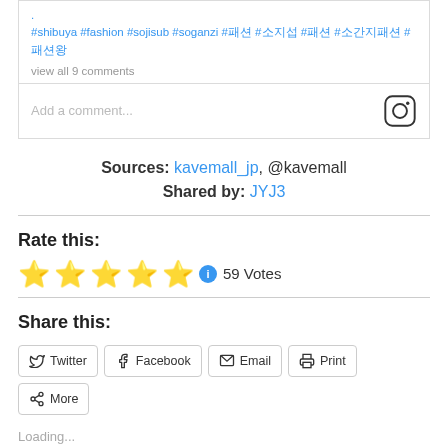. #shibuya #fashion #sojisub #soganzi #패션 #소지섭 #패션 #소간지 #소지섭패션 #패션왕
view all 9 comments
Add a comment...
Sources: kavemall_jp, @kavemall
Shared by: JYJ3
Rate this:
59 Votes
Share this:
Twitter  Facebook  Email  Print  More
Loading...